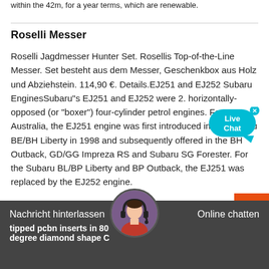within the 42m, for a year terms, which are renewable.
Roselli Messer
Roselli Jagdmesser Hunter Set. Rosellis Top-of-the-Line Messer. Set besteht aus dem Messer, Geschenkbox aus Holz und Abziehstein. 114,90 €. Details.EJ251 and EJ252 Subaru EnginesSubaru"s EJ251 and EJ252 were 2. horizontally-opposed (or "boxer") four-cylinder petrol engines. For Australia, the EJ251 engine was first introduced in the Subaru BE/BH Liberty in 1998 and subsequently offered in the BH Outback, GD/GG Impreza RS and Subaru SG Forester. For the Subaru BL/BP Liberty and BP Outback, the EJ251 was replaced by the EJ252 engine.
[Figure (other): Live Chat bubble widget with teal background, text 'Live Chat' and X close button]
[Figure (other): Orange back-to-top button with white chevron arrow]
[Figure (other): Customer service avatar showing a woman with headset, circular crop]
Nachricht hinterlassen    Online chatten
tipped pcbn inserts in 80 degree diamond shape C